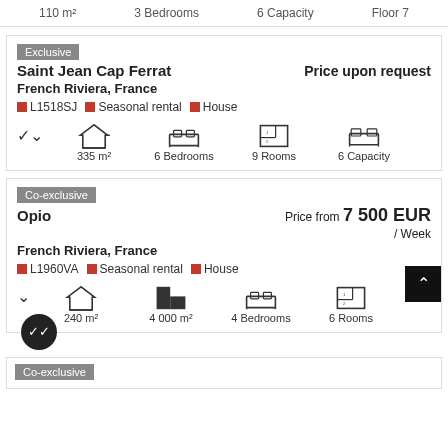110 m²  3 Bedrooms  6 Capacity  Floor 7
Exclusive
Saint Jean Cap Ferrat
French Riviera, France
L1518SJ  Seasonal rental  House
335 m²  6 Bedrooms  9 Rooms  6 Capacity
Price upon request
Co-exclusive
Opio
French Riviera, France
L1960VA  Seasonal rental  House
240 m²  4 000 m²  4 Bedrooms  6 Rooms
Price from 7 500 EUR / Week